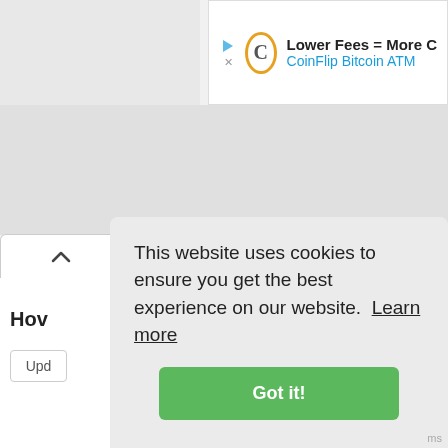[Figure (screenshot): Ad banner for CoinFlip Bitcoin ATM with logo, play button icon, close X, headline 'Lower Fees = More C' and subtext 'CoinFlip Bitcoin ATM' in blue]
[Figure (screenshot): Browser UI element: accordion/tab toggle button with an upward chevron (^) on a white rounded-top tab]
Hov
Upd
This website uses cookies to ensure you get the best experience on our website.  Learn more
Got it!
ms